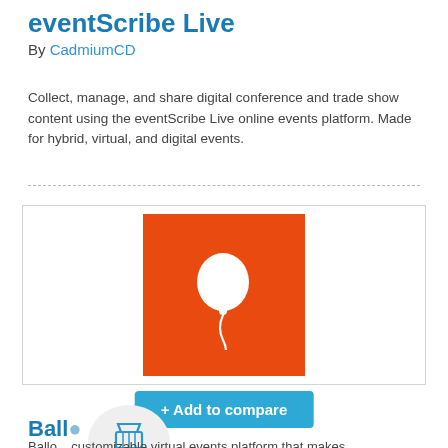eventScribe Live
By CadmiumCD
Collect, manage, and share digital conference and trade show content using the eventScribe Live online events platform. Made for hybrid, virtual, and digital events.
[Figure (logo): Orange square with white balloon icon — eventScribe Live logo]
+ Add to compare
Ballo...
Ballo... customizable virtual events platform that makes